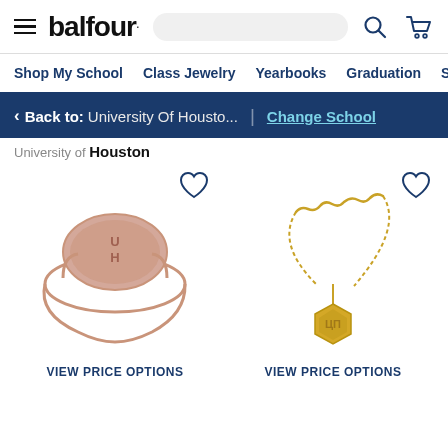balfour. navigation header with hamburger menu, search, and cart icons
Shop My School | Class Jewelry | Yearbooks | Graduation | Sc...
< Back to: University Of Housto... | Change School
Houston
[Figure (photo): Rose gold signet ring with University of Houston UH monogram engraved on the face, product photo on white background]
[Figure (photo): Gold hexagon charm necklace with University of Houston crest, on a gold chain, product photo on white background]
VIEW PRICE OPTIONS
VIEW PRICE OPTIONS